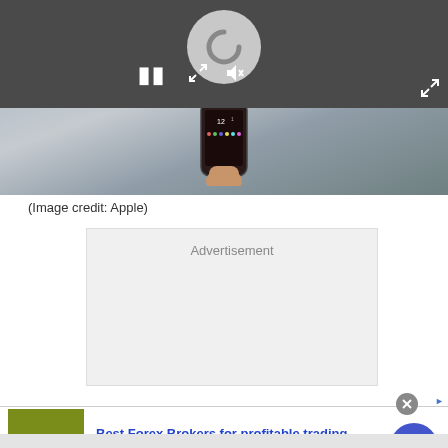[Figure (screenshot): Video player interface showing media controls (pause button, resize icon, mute icon) over a dark control bar with a circular spinner/logo button, and a hand holding an iPhone visible in the lower portion of the video frame.]
(Image credit: Apple)
[Figure (other): Advertisement placeholder box with label 'Advertisement' on a light gray background.]
[Figure (other): Ad banner for forex-ratings.com: FR logo in olive green, headline 'Best Forex Brokers for profitable trading', description 'Open Forex Account, receive Bonus and start earning Now', URL 'forex-ratings.com', blue circular call-to-action button with right arrow.]